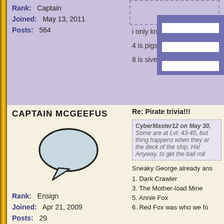Rank: Captain
Joined: May 13, 2011
Posts: 564
i only know r
4 is pigsy, fri
8 is sivella
CAPTAIN MCGEEFUS
[Figure (illustration): Speech bubble cartoon icon]
Rank: Ensign
Joined: Apr 21, 2009
Posts: 29
Re: Pirate trivia!!!
CyberMaster12 on May 30,
Some are at Lvl. 43-45, but thing happens when they ar the deck of the ship. Ha! Anyway, to get the ball roll
Sneaky George already ans
1. Dark Crawler
3. The Mother-load Mine
5. Annie Fox
6. Red Fox was who we fo